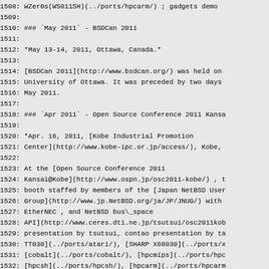1508: wZer0s(WS011SH)(../ports/hpcarm/) ; gadgets demo
1509:
1510: ### `May 2011` - BSDCan 2011
1511:
1512: *May 13-14, 2011, Ottawa, Canada.*
1513:
1514: [BSDCan 2011](http://www.bsdcan.org/) was held on
1515: University of Ottawa. It was preceded by two days
1516: May 2011.
1517:
1518: ### `Apr 2011` - Open Source Conference 2011 Kansa
1519:
1520: *Apr. 16, 2011, [Kobe Industrial Promotion
1521: Center](http://www.kobe-ipc.or.jp/access/), Kobe,
1522:
1523: At the [Open Source Conference 2011
1524: Kansai@Kobe](http://www.ospn.jp/osc2011-kobe/) , t
1525: booth staffed by members of the [Japan NetBSD User
1526: Group](http://www.jp.NetBSD.org/ja/JP/JNUG/) with
1527: EtherNEC , and NetBSD bus\_space
1528: API](http://www.ceres.dti.ne.jp/tsutsui/osc2011kob
1529: presentation by tsutsui, contao presentation by ta
1530: TT030](../ports/atari/), [SHARP X68030](../ports/x
1531: [cobalt](../ports/cobalt/), [hpcmips](../ports/hpc
1532: [hpcsh](../ports/hpcsh/), [hpcarm](../ports/hpcarm
1533: [zaurus](../ports/zaurus/) gadgets demonstration.
1534:
1535: ### `Mar 2011` - AsiaBSDCon 2011
1536:
1537: *Mar 19-20, 2011, Tokyo University of Science,Toky
1538: